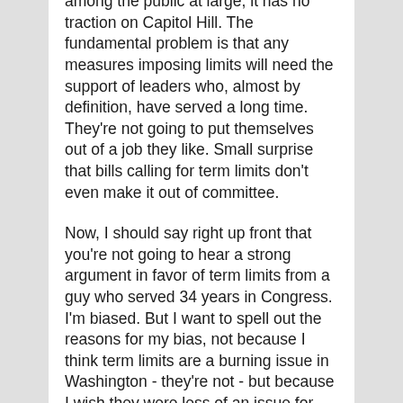among the public at large, it has no traction on Capitol Hill. The fundamental problem is that any measures imposing limits will need the support of leaders who, almost by definition, have served a long time. They're not going to put themselves out of a job they like. Small surprise that bills calling for term limits don't even make it out of committee.
Now, I should say right up front that you're not going to hear a strong argument in favor of term limits from a guy who served 34 years in Congress. I'm biased. But I want to spell out the reasons for my bias, not because I think term limits are a burning issue in Washington - they're not - but because I wish they were less of an issue for ordinary voters.